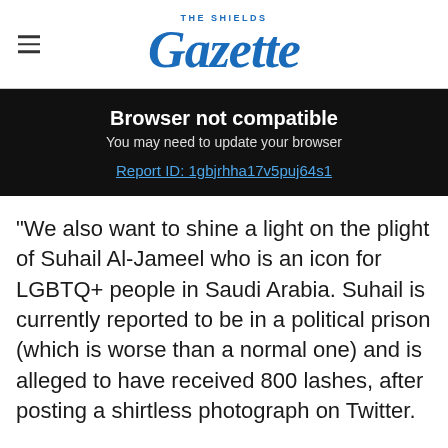THE SHIELDS Gazette
Browser not compatible
You may need to update your browser
Report ID: 1gbjrhha17v5puj64s1
"We also want to shine a light on the plight of Suhail Al-Jameel who is an icon for LGBTQ+ people in Saudi Arabia. Suhail is currently reported to be in a political prison (which is worse than a normal one) and is alleged to have received 800 lashes, after posting a shirtless photograph on Twitter.